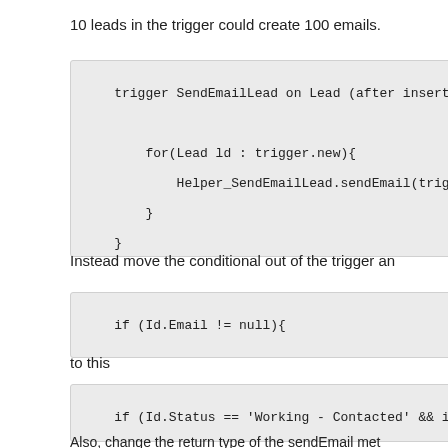10 leads in the trigger could create 100 emails.
[Figure (screenshot): Code block showing trigger SendEmailLead on Lead (after insert, after...) with for loop calling Helper_SendEmailLead.sendEmail(trigger....)]
Instead move the conditional out of the trigger an
[Figure (screenshot): Code block: if (Id.Email != null){]
to this
[Figure (screenshot): Code block: if (Id.Status == 'Working - Contacted' && if(Id.Ema...]
Also, change the return type of the sendEmail met anything since the trigger will not be using any ret